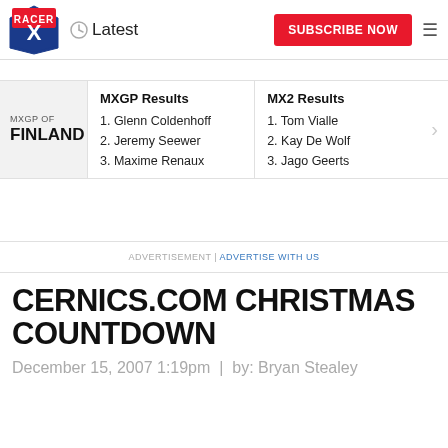Latest | SUBSCRIBE NOW
|  | MXGP Results | MX2 Results |
| --- | --- | --- |
| MXGP OF FINLAND | 1. Glenn Coldenhoff
2. Jeremy Seewer
3. Maxime Renaux | 1. Tom Vialle
2. Kay De Wolf
3. Jago Geerts |
ADVERTISEMENT | ADVERTISE WITH US
CERNICS.COM CHRISTMAS COUNTDOWN
December 15, 2007 1:19pm | by: Bryan Stealey